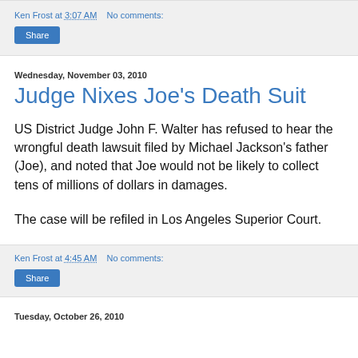Ken Frost at 3:07 AM   No comments:
Wednesday, November 03, 2010
Judge Nixes Joe's Death Suit
US District Judge John F. Walter has refused to hear the wrongful death lawsuit filed by Michael Jackson's father (Joe), and noted that Joe would not be likely to collect tens of millions of dollars in damages.

The case will be refiled in Los Angeles Superior Court.
Ken Frost at 4:45 AM   No comments:
Tuesday, October 26, 2010